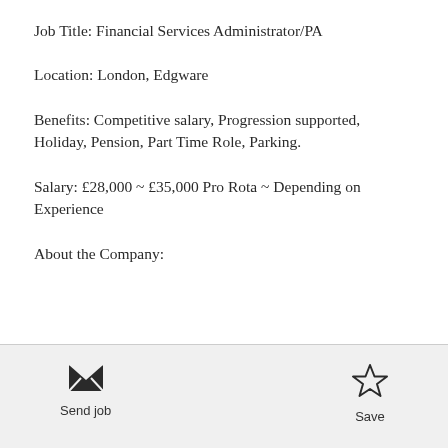Job Title: Financial Services Administrator/PA
Location: London, Edgware
Benefits: Competitive salary, Progression supported, Holiday, Pension, Part Time Role, Parking.
Salary: £28,000 ~ £35,000 Pro Rota ~ Depending on Experience
About the Company:
[Figure (illustration): Envelope icon for Send job action]
Send job
[Figure (illustration): Star icon for Save action]
Save